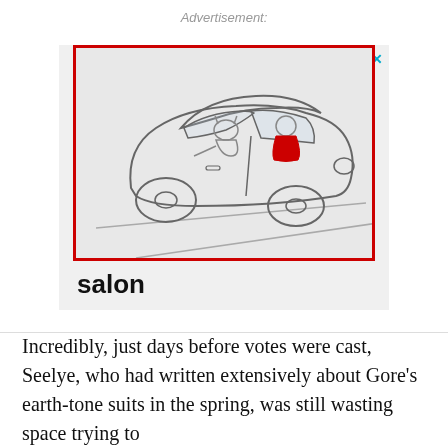Advertisement:
[Figure (illustration): Advertisement banner for Salon magazine. Contains a line drawing of a retro-style car with cartoon animal characters inside (one in red in the driver seat, one in the back seat). The illustration is enclosed in a thick red border. Below the car illustration is the word 'salon' in bold black sans-serif text.]
Incredibly, just days before votes were cast, Seelye, who had written extensively about Gore's earth-tone suits in the spring, was still wasting space trying to